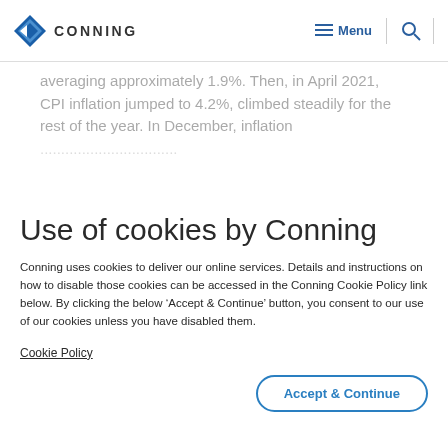CONNING | Menu | Search
averaging approximately 1.9%. Then, in April 2021, CPI inflation jumped to 4.2%, climbed steadily for the rest of the year. In December, inflation ...
Use of cookies by Conning
Conning uses cookies to deliver our online services. Details and instructions on how to disable those cookies can be accessed in the Conning Cookie Policy link below. By clicking the below ‘Accept & Continue’ button, you consent to our use of our cookies unless you have disabled them.
Cookie Policy
Accept & Continue